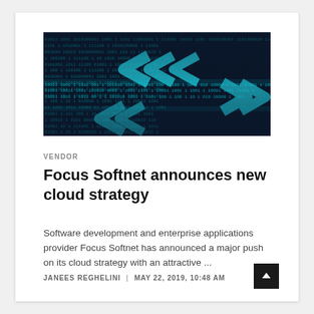[Figure (photo): Dark navy background filled with binary code (0s and 1s) in bright cyan/teal color, with large arrow chevron shapes pointing left and right overlaid on the binary text pattern]
VENDOR
Focus Softnet announces new cloud strategy
Software development and enterprise applications provider Focus Softnet has announced a major push on its cloud strategy with an attractive ...
JANEES REGHELINI | MAY 22, 2019, 10:48 AM